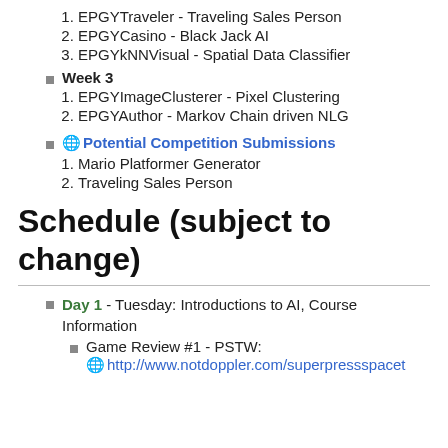1. EPGYTraveler - Traveling Sales Person
2. EPGYCasino - Black Jack AI
3. EPGYkNNVisual - Spatial Data Classifier
Week 3
1. EPGYImageClusterer - Pixel Clustering
2. EPGYAuthor - Markov Chain driven NLG
Potential Competition Submissions
1. Mario Platformer Generator
2. Traveling Sales Person
Schedule (subject to change)
Day 1 - Tuesday: Introductions to AI, Course Information
Game Review #1 - PSTW:
http://www.notdoppler.com/superpressspacet